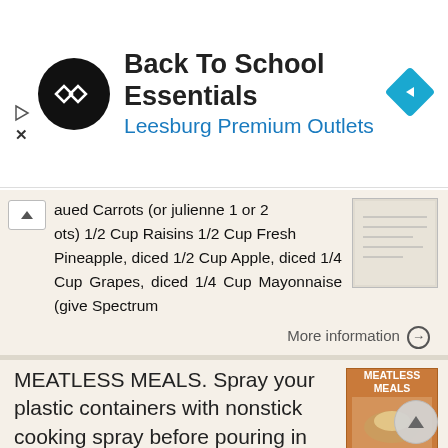[Figure (logo): Advertisement banner: Back To School Essentials, Leesburg Premium Outlets with logo and navigation icon]
aued Carrots (or julienne 1 or 2 ots) 1/2 Cup Raisins 1/2 Cup Fresh Pineapple, diced 1/2 Cup Apple, diced 1/4 Cup Grapes, diced 1/4 Cup Mayonnaise (give Spectrum
More information →
MEATLESS MEALS. Spray your plastic containers with nonstick cooking spray before pouring in tomato-based sauces
MEATLESS MEALS Spray your plastic containers with nonstick cooking spray before pouring in tomato-based sauces and there won t be any stains. 129 What Makes Beans, Peas, and Lentils So Good to Eat? They